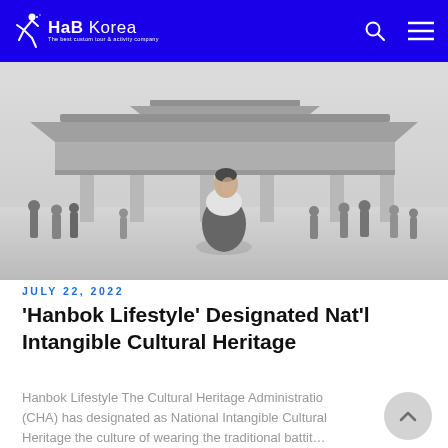HaB Korea – The best custom tour & activity company
[Figure (photo): Black and white photo of a woman in hanbok traditional Korean dress turning to look at the camera, with Gyeongbokgung Palace in the background and visitors walking around.]
JULY 22, 2022
'Hanbok Lifestyle' Designated Nat'l Intangible Cultural Heritage
Hanbok Lifestyle The Cultural Heritage Administration (CHA) has designated as National Intangible Cultural Heritage the culture of wearing the traditional battit...